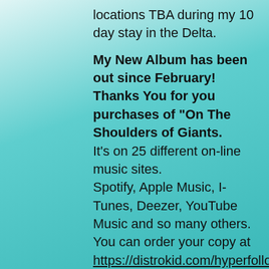locations TBA during my 10 day stay in the Delta.
My New Album has been out since February!  Thanks You for you purchases of "On The Shoulders of Giants. It's on 25 different on-line music sites. Spotify, Apple Music, I-Tunes, Deezer, YouTube Music and so many others. You can order your copy at https://distrokid.com/hyperfollow/billricci/on-the-shoulders-of-giants I will also have CD's available at the gigs which can be purchased for $8.00 or you can download your copy on line for